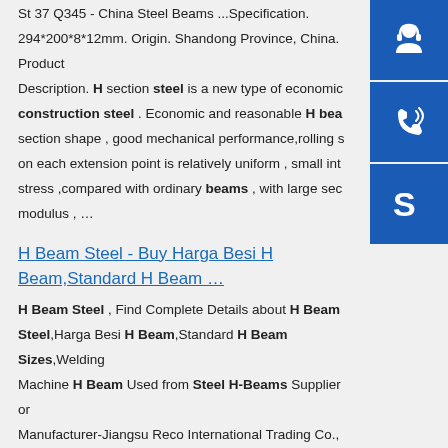St 37 Q345 - China Steel Beams ...Specification. 294*200*8*12mm. Origin. Shandong Province, China. Product Description. H section steel is a new type of economic construction steel . Economic and reasonable H beam section shape , good mechanical performance,rolling stress on each extension point is relatively uniform , small internal stress ,compared with ordinary beams , with large section modulus , ...
[Figure (illustration): Three blue sidebar buttons: customer service headset icon, phone/call icon, and Skype icon]
H Beam Steel - Buy Harga Besi H Beam,Standard H Beam ...
H Beam Steel , Find Complete Details about H Beam Steel,Harga Besi H Beam,Standard H Beam Sizes,Welding Machine H Beam Used from Steel H-Beams Supplier or Manufacturer-Jiangsu Reco International Trading Co., Ltd.sp.info Standard Size Steel H Beam 350*350*12*19Our